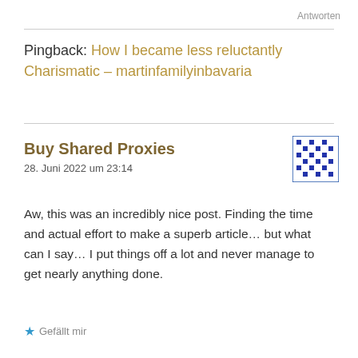Antworten
Pingback: How I became less reluctantly Charismatic – martinfamilyinbavaria
Buy Shared Proxies
28. Juni 2022 um 23:14
Aw, this was an incredibly nice post. Finding the time and actual effort to make a superb article… but what can I say… I put things off a lot and never manage to get nearly anything done.
Gefällt mir